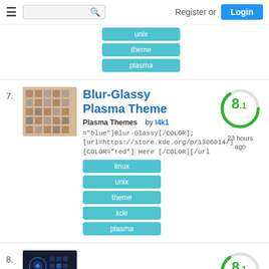Register or Login
unix
theme
plasma
7. Blur-Glassy Plasma Theme
Plasma Themes    by l4k1
="blue"]Blur-Glassy[/COLOR]; [url=https://store.kde.org/p/1306014/][COLOR="red"] Here [/COLOR][/url
linux
unix
theme
kde
plasma
8.